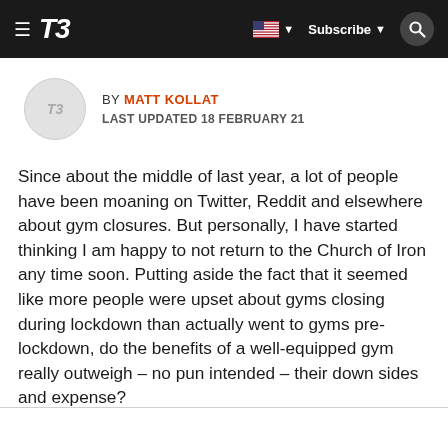T3 | Subscribe
BY MATT KOLLAT
LAST UPDATED 18 FEBRUARY 21
Since about the middle of last year, a lot of people have been moaning on Twitter, Reddit and elsewhere about gym closures. But personally, I have started thinking I am happy to not return to the Church of Iron any time soon. Putting aside the fact that it seemed like more people were upset about gyms closing during lockdown than actually went to gyms pre-lockdown, do the benefits of a well-equipped gym really outweigh – no pun intended – their down sides and expense?